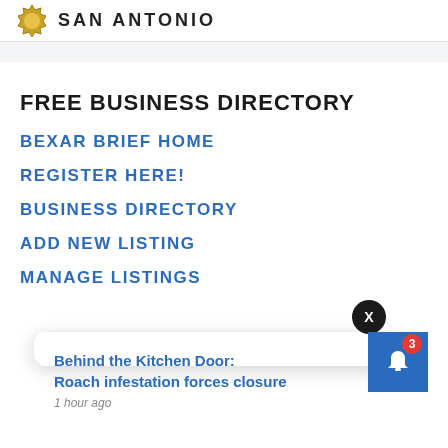SAN ANTONIO
FREE BUSINESS DIRECTORY
BEXAR BRIEF HOME
REGISTER HERE!
BUSINESS DIRECTORY
ADD NEW LISTING
MANAGE LISTINGS
Behind the Kitchen Door: Roach infestation forces closure
1 hour ago